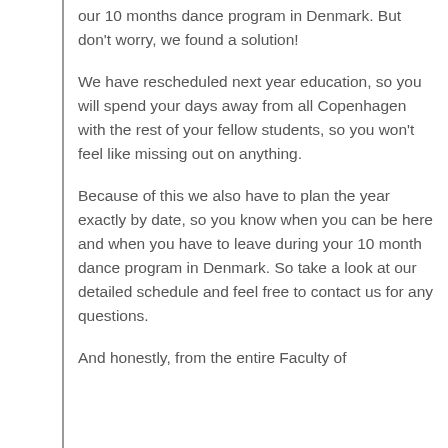our 10 months dance program in Denmark. But don't worry, we found a solution!
We have rescheduled next year education, so you will spend your days away from all Copenhagen with the rest of your fellow students, so you won't feel like missing out on anything.
Because of this we also have to plan the year exactly by date, so you know when you can be here and when you have to leave during your 10 month dance program in Denmark. So take a look at our detailed schedule and feel free to contact us for any questions.
And honestly, from the entire Faculty of